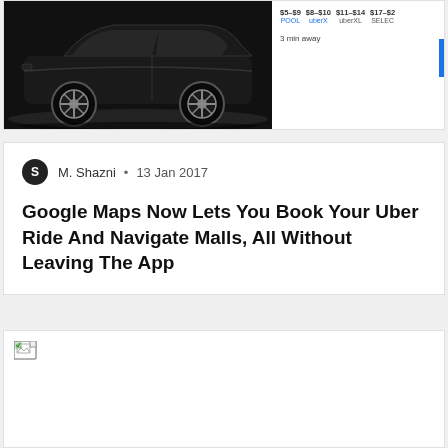[Figure (screenshot): Top portion of a news article card showing a black car (Uber vehicle) on the left side and Uber pricing panel on the right with prices: $5-$9 POOL, $8-$10 uberX, $11-$14 uberXL, $17-$? SELECT, and '3 min away' text with blue bar]
M. Shazni • 13 Jan 2017
Google Maps Now Lets You Book Your Uber Ride And Navigate Malls, All Without Leaving The App
[Figure (screenshot): Broken image placeholder at bottom of page — white rectangle with small broken image icon in top-left corner]